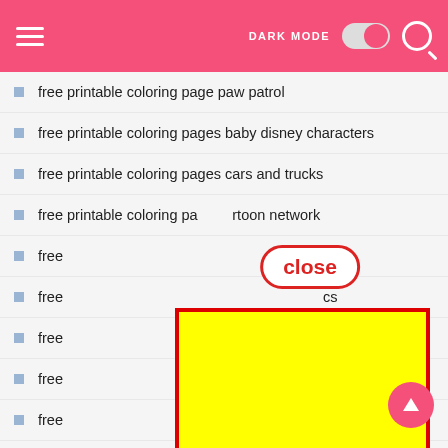Navigation bar with hamburger menu, DARK MODE toggle, and search icon
free printable coloring page paw patrol
free printable coloring pages baby disney characters
free printable coloring pages cars and trucks
free printable coloring pages cartoon network
free
free                                                cs
free
free
free                                            ncess
free
free
free printable coloring pages of disney princesses
[Figure (screenshot): Close button overlay bubble with red border and 'close' text in red, and a yellow advertisement block with red border covering much of the list]